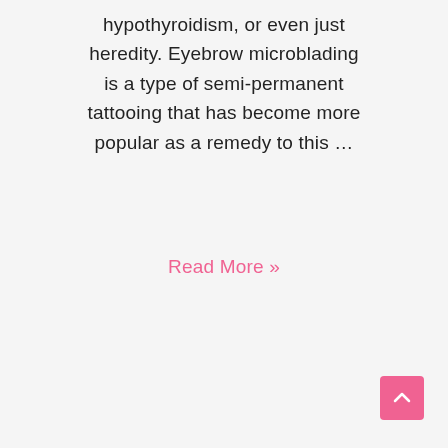hypothyroidism, or even just heredity. Eyebrow microblading is a type of semi-permanent tattooing that has become more popular as a remedy to this …
Read More »